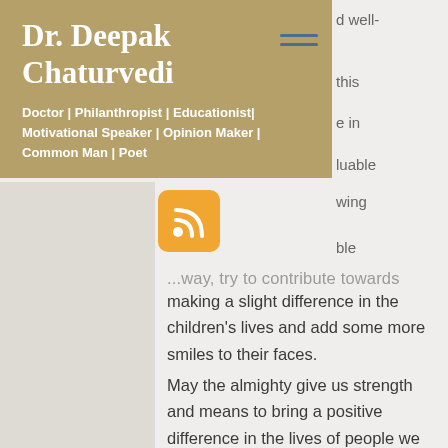Dr. Deepak Chaturvedi
Doctor | Philanthropist | Educationist| Motivational Speaker | Opinion Maker | Common Man | Poet
[Figure (logo): RSS feed icon, orange rounded square with white wifi/rss symbol]
...way, try to contribute towards making a slight difference in the children's lives and add some more smiles to their faces.
May the almighty give us strength and means to bring a positive difference in the lives of people we come across, in the hope to bring a positive change in society. With all your support and blessings, we will continue to